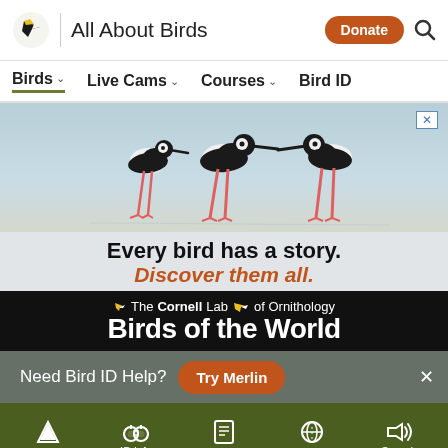All About Birds | Donate | Search
Birds | Live Cams | Courses | Bird ID
[Figure (photo): Three black-and-white stilts with long pink legs standing on a light sandy/water surface. Advertisement for Cornell Lab Birds of the World with text 'Every bird has a story. Discover them all.' and Cornell Lab of Ornithology Birds of the World branding on a black bar.]
Need Bird ID Help? Try Merlin
Overview | ID info | Life History | Maps | Sounds